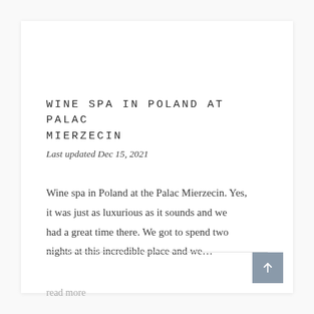WINE SPA IN POLAND AT PALAC MIERZECIN
Last updated Dec 15, 2021
Wine spa in Poland at the Palac Mierzecin. Yes, it was just as luxurious as it sounds and we had a great time there. We got to spend two nights at this incredible place and we...
read more